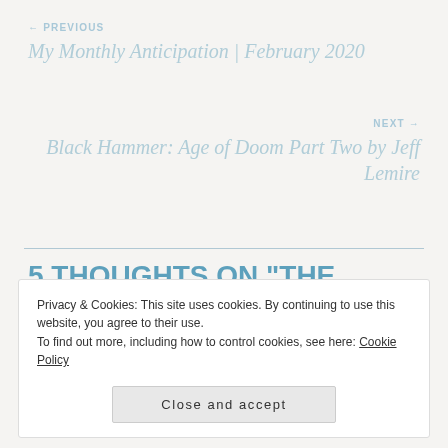← PREVIOUS
My Monthly Anticipation | February 2020
NEXT →
Black Hammer: Age of Doom Part Two by Jeff Lemire
5 THOUGHTS ON "THE GENTLEMEN : MOVIE REVIEW"
[Figure (photo): Small circular avatar image, partially visible at bottom of navigation area]
Privacy & Cookies: This site uses cookies. By continuing to use this website, you agree to their use.
To find out more, including how to control cookies, see here: Cookie Policy
Close and accept